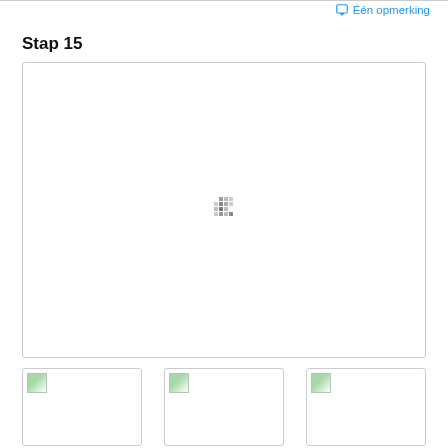Één opmerking
Stap 15
[Figure (photo): Large image placeholder box with a loading spinner (dot matrix pattern) centered, outlined with a light gray border.]
[Figure (photo): Thumbnail image placeholder 1]
[Figure (photo): Thumbnail image placeholder 2]
[Figure (photo): Thumbnail image placeholder 3]